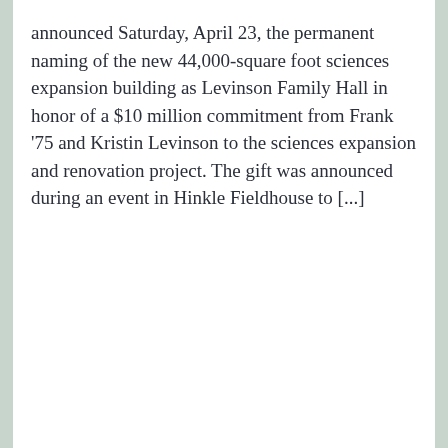announced Saturday, April 23, the permanent naming of the new 44,000-square foot sciences expansion building as Levinson Family Hall in honor of a $10 million commitment from Frank '75 and Kristin Levinson to the sciences expansion and renovation project. The gift was announced during an event in Hinkle Fieldhouse to [...]
[Figure (photo): White rectangular card area with no visible content (blank white space)]